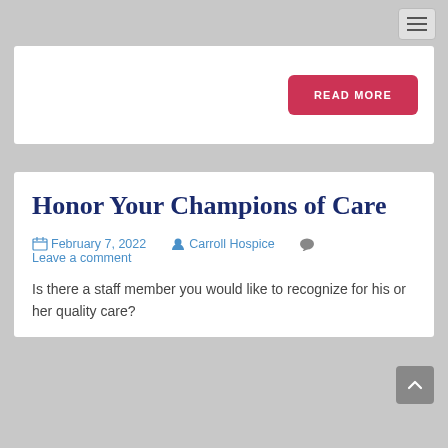[Figure (other): Hamburger menu button in top right corner]
[Figure (other): White card with red READ MORE button]
Honor Your Champions of Care
February 7, 2022  Carroll Hospice  Leave a comment
Is there a staff member you would like to recognize for his or her quality care?